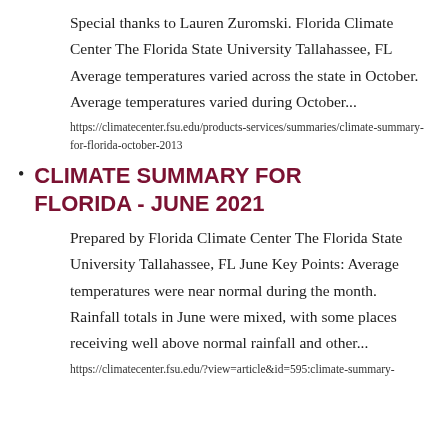Special thanks to Lauren Zuromski. Florida Climate Center The Florida State University Tallahassee, FL Average temperatures varied across the state in October. Average temperatures varied during October...
https://climatecenter.fsu.edu/products-services/summaries/climate-summary-for-florida-october-2013
CLIMATE SUMMARY FOR FLORIDA - JUNE 2021
Prepared by Florida Climate Center The Florida State University Tallahassee, FL June Key Points: Average temperatures were near normal during the month. Rainfall totals in June were mixed, with some places receiving well above normal rainfall and other...
https://climatecenter.fsu.edu/?view=article&id=595:climate-summary-